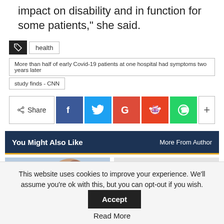impact on disability and in function for some patients," she said.
health
More than half of early Covid-19 patients at one hospital had symptoms two years later
study finds - CNN
[Figure (infographic): Social share buttons: Share, Facebook, Twitter, Google, Reddit, WhatsApp, plus button]
You Might Also Like    More From Author
[Figure (photo): Two thumbnail images side by side below the You Might Also Like bar]
This website uses cookies to improve your experience. We'll assume you're ok with this, but you can opt-out if you wish. Accept
Read More